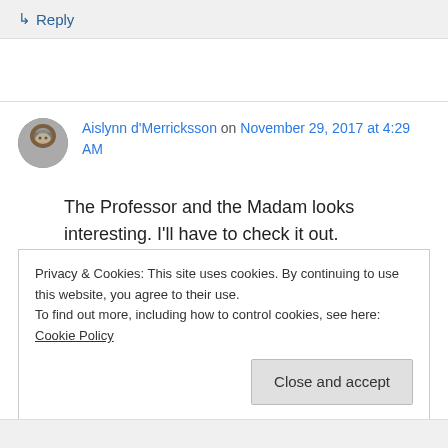↳ Reply
Aislynn d'Merricksson on November 29, 2017 at 4:29 AM
The Professor and the Madam looks interesting. I'll have to check it out.
Privacy & Cookies: This site uses cookies. By continuing to use this website, you agree to their use.
To find out more, including how to control cookies, see here: Cookie Policy
Close and accept